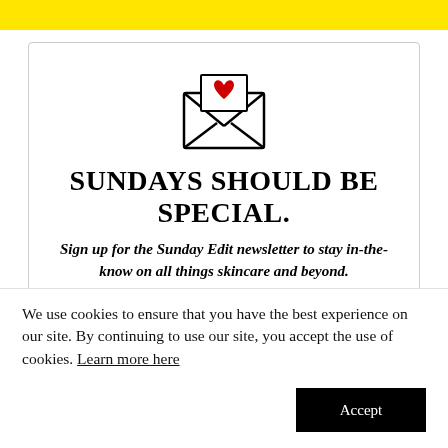[Figure (illustration): Yellow horizontal banner bar at the top of the page]
[Figure (illustration): Open envelope icon with a red heart visible inside, drawn in simple black line art style]
SUNDAYS SHOULD BE SPECIAL.
Sign up for the Sunday Edit newsletter to stay in-the-know on all things skincare and beyond.
We use cookies to ensure that you have the best experience on our site. By continuing to use our site, you accept the use of cookies. Learn more here
Accept